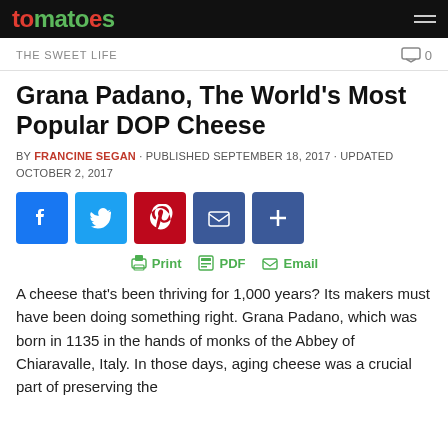tomatoes
THE SWEET LIFE    0
Grana Padano, The World's Most Popular DOP Cheese
BY FRANCINE SEGAN · PUBLISHED SEPTEMBER 18, 2017 · UPDATED OCTOBER 2, 2017
[Figure (other): Social share buttons: Facebook, Twitter, Pinterest, Email, Share]
[Figure (other): Print, PDF, Email action links with icons]
A cheese that's been thriving for 1,000 years? Its makers must have been doing something right. Grana Padano, which was born in 1135 in the hands of monks of the Abbey of Chiaravalle, Italy. In those days, aging cheese was a crucial part of preserving the